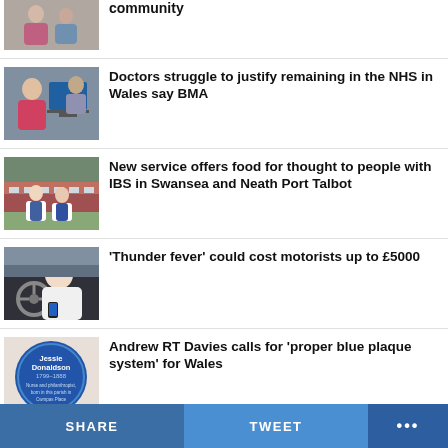[Figure (photo): Partial news thumbnail at top, people in community setting]
community
[Figure (photo): Doctor and patient at desk with computer screen]
Doctors struggle to justify remaining in the NHS in Wales say BMA
[Figure (photo): Two nurses standing outside a hospital building]
New service offers food for thought to people with IBS in Swansea and Neath Port Talbot
[Figure (photo): Man using mobile phone while sitting in car driving seat]
'Thunder fever' could cost motorists up to £5000
[Figure (photo): Blue heritage plaque for Jessie Donaldson 1799-1888]
Andrew RT Davies calls for 'proper blue plaque system' for Wales
SHARE   TWEET   ...